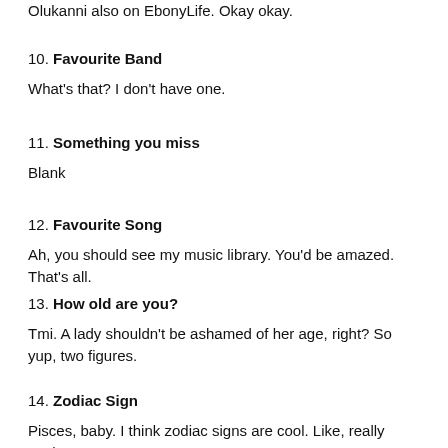Olukanni also on EbonyLife. Okay okay.
10. Favourite Band
What's that? I don't have one.
11. Something you miss
Blank
12. Favourite Song
Ah, you should see my music library. You'd be amazed. That's all.
13. How old are you?
Tmi. A lady shouldn't be ashamed of her age, right? So yup, two figures.
14. Zodiac Sign
Pisces, baby. I think zodiac signs are cool. Like, really cool.